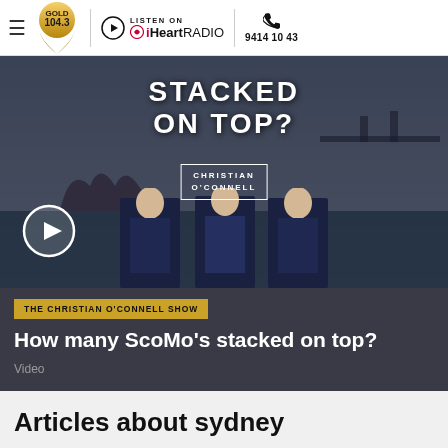GOLD 104.3 | LISTEN ON iHeartRADIO | 9414 1043
[Figure (screenshot): Video thumbnail showing Sydney Opera House background with three copies of a suited man (ScoMo), text overlay reading STACKED ON TOP? and CHRISTIAN O'CONNELL, with a play button circle overlay]
THE CHRISTIAN O'CONNELL SHOW
How many ScoMo's stacked on top?
Video
Articles about sydney